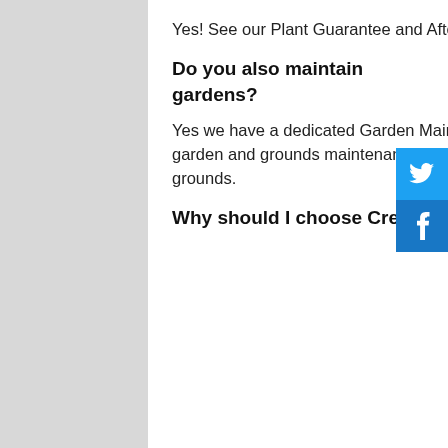Yes! See our Plant Guarantee and Aftercare information. Garden Maintenance
Do you also maintain gardens?
Yes we have a dedicated Garden Maintenance team that can help with all aspects of garden and grounds maintenance. We maintain domestic, commercial and school grounds.
Why should I choose Creative Landscape Co to maintain our garden?
[Figure (infographic): Twitter share button (blue) and Facebook share button (darker blue) on the right side of the page]